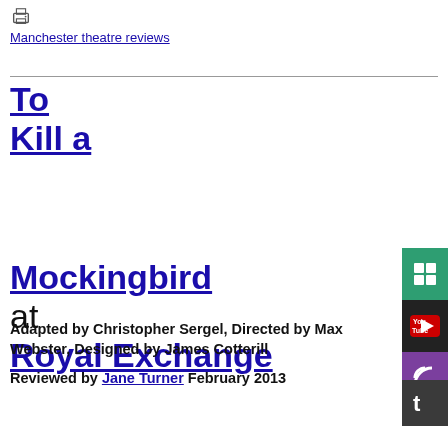Manchester theatre reviews
To Kill a Mockingbird at Royal Exchange
Adapted by Christopher Sergel, Directed by Max Webster, Designed by James Cotterill
Reviewed by Jane Turner February 2013